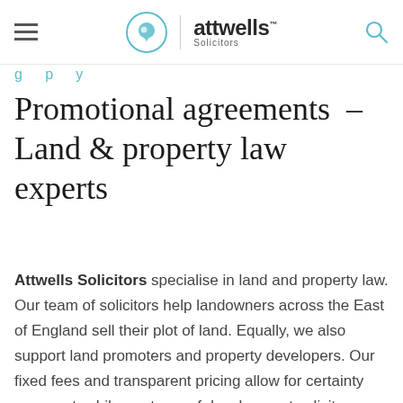attwells Solicitors
g  p  y
Promotional agreements  –  Land & property law experts
Attwells Solicitors specialise in land and property law. Our team of solicitors help landowners across the East of England sell their plot of land. Equally, we also support land promoters and property developers. Our fixed fees and transparent pricing allow for certainty over cost, while our team of development solicitors have the expertise